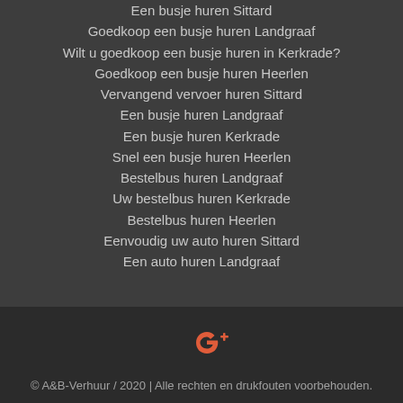Een busje huren Sittard
Goedkoop een busje huren Landgraaf
Wilt u goedkoop een busje huren in Kerkrade?
Goedkoop een busje huren Heerlen
Vervangend vervoer huren Sittard
Een busje huren Landgraaf
Een busje huren Kerkrade
Snel een busje huren Heerlen
Bestelbus huren Landgraaf
Uw bestelbus huren Kerkrade
Bestelbus huren Heerlen
Eenvoudig uw auto huren Sittard
Een auto huren Landgraaf
[Figure (logo): Google+ icon in orange/red color]
© A&B-Verhuur / 2020 | Alle rechten en drukfouten voorbehouden.